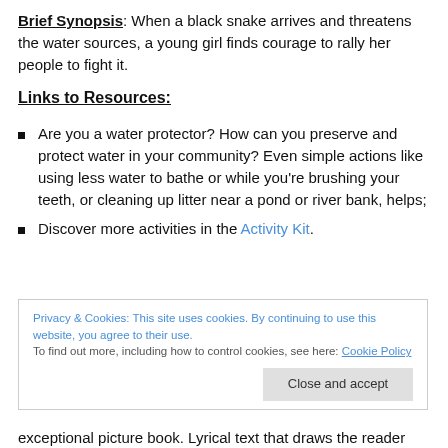Brief Synopsis: When a black snake arrives and threatens the water sources, a young girl finds courage to rally her people to fight it.
Links to Resources:
Are you a water protector? How can you preserve and protect water in your community? Even simple actions like using less water to bathe or while you’re brushing your teeth, or cleaning up litter near a pond or river bank, helps;
Discover more activities in the Activity Kit.
Privacy & Cookies: This site uses cookies. By continuing to use this website, you agree to their use. To find out more, including how to control cookies, see here: Cookie Policy
exceptional picture book. Lyrical text that draws the reader